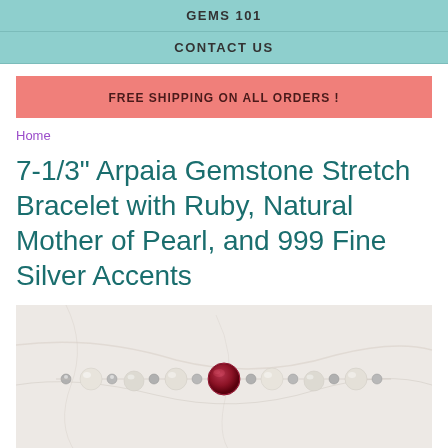GEMS 101
CONTACT US
FREE SHIPPING ON ALL ORDERS !
Home
7-1/3" Arpaia Gemstone Stretch Bracelet with Ruby, Natural Mother of Pearl, and 999 Fine Silver Accents
[Figure (photo): A gemstone stretch bracelet laid on a marble surface, featuring a central red ruby bead flanked by white/cream mother of pearl beads and small silver accent beads.]